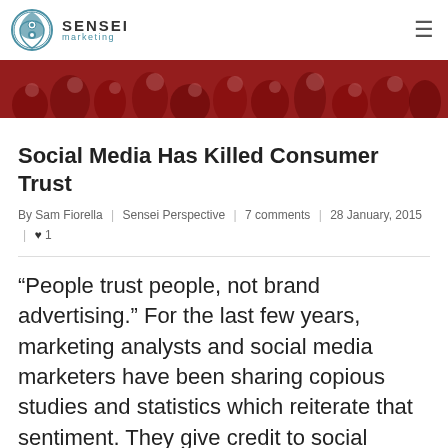SENSEI marketing
[Figure (photo): Red-tinted crowd photo used as hero banner]
Social Media Has Killed Consumer Trust
By Sam Fiorella | Sensei Perspective | 7 comments | 28 January, 2015 | ♥ 1
“People trust people, not brand advertising.” For the last few years, marketing analysts and social media marketers have been sharing copious studies and statistics which reiterate that sentiment. They give credit to social media for this new reality and point to the “wisdom of crowds” effect, which